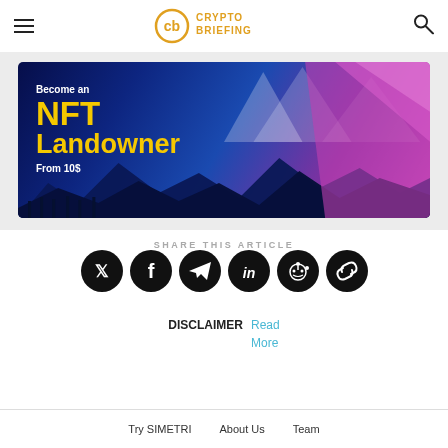CRYPTO BRIEFING
[Figure (photo): NFT Landowner advertisement banner with text 'Become an NFT Landowner From 10$' on a blue/purple gradient background with mountain scenery]
SHARE THIS ARTICLE
[Figure (infographic): Row of 6 social media share icons: Twitter, Facebook, Telegram, LinkedIn, Reddit, Copy Link]
DISCLAIMER Read More
Try SIMETRI   About Us   Team